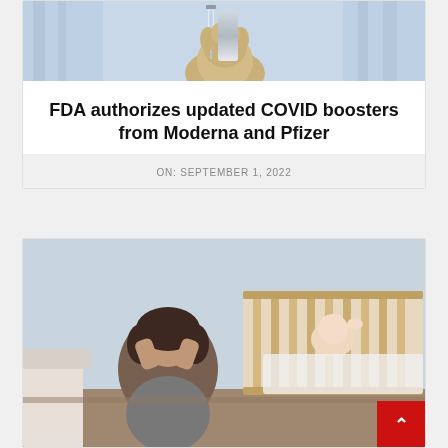[Figure (photo): Close-up of gloved hand holding a syringe against a light blue background — vaccine/medical injection photo]
FDA authorizes updated COVID boosters from Moderna and Pfizer
ON: SEPTEMBER 1, 2022
[Figure (photo): Woman leaning forward with head in her hands, appearing stressed or crying, in front of a wooden baby crib with a baby/toddler visible in the background]